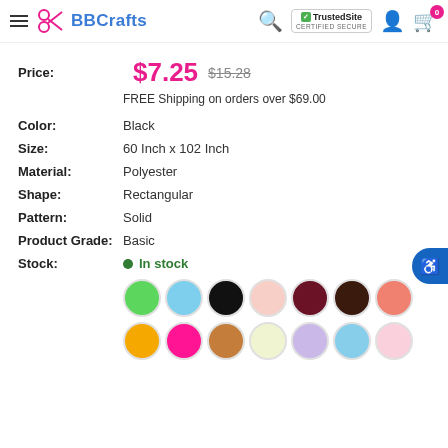BBCrafts - TrustedSite Certified Secure
Price: $7.25  $15.28
FREE Shipping on orders over $69.00
Color: Black
Size: 60 Inch x 102 Inch
Material: Polyester
Shape: Rectangular
Pattern: Solid
Product Grade: Basic
Stock: In stock
[Figure (illustration): Color swatches: green, light blue, black, light pink, dark red, dark brown, coral/salmon, yellow/orange, hot pink, brown/tan, light yellow, lavender, sky blue, pink]